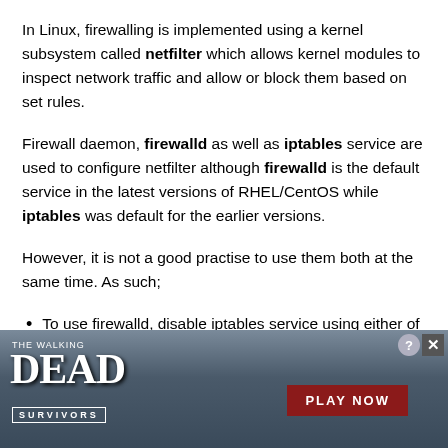In Linux, firewalling is implemented using a kernel subsystem called netfilter which allows kernel modules to inspect network traffic and allow or block them based on set rules.
Firewall daemon, firewalld as well as iptables service are used to configure netfilter although firewalld is the default service in the latest versions of RHEL/CentOS while iptables was default for the earlier versions.
However, it is not a good practise to use them both at the same time. As such;
To use firewalld, disable iptables service using either of th...
[Figure (other): Advertisement banner for 'The Walking Dead: Survivors' mobile game showing zombies background with PLAY NOW button]